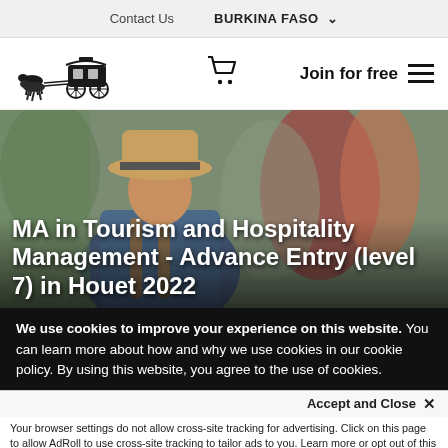Contact Us    BURKINA FASO  ▾
[Figure (logo): Horse-drawn carriage logo (vintage illustration)]
Join for free  ☰
[Figure (photo): Photo of a traveler from behind wearing a tan hat in a crowd]
MA in Tourism and Hospitality Management - Advance Entry (level 7) in Houet 2022
We use cookies to improve your experience on this website. You can learn more about how and why we use cookies in our cookie policy. By using this website, you agree to the use of cookies.
Accept and Close ✕
Your browser settings do not allow cross-site tracking for advertising. Click on this page to allow AdRoll to use cross-site tracking to tailor ads to you. Learn more or opt out of this AdRoll tracking by clicking here. This message only appears once.